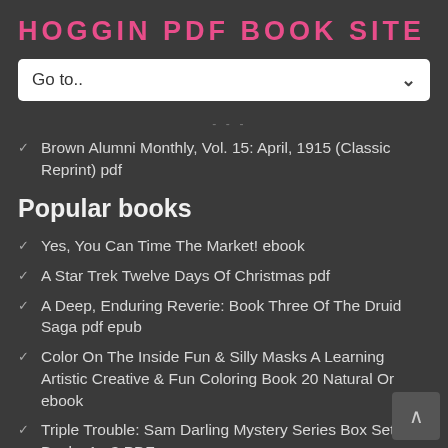HOGGIN PDF BOOK SITE
[Figure (screenshot): Dropdown navigation widget with 'Go to..' placeholder text and a chevron arrow on the right, white background]
...
Brown Alumni Monthly, Vol. 15: April, 1915 (Classic Reprint) pdf
Popular books
Yes, You Can Time The Market! ebook
A Star Trek Twelve Days Of Christmas pdf
A Deep, Enduring Reverie: Book Three Of The Druid Saga pdf epub
Color On The Inside Fun & Silly Masks A Learning Artistic Creative & Fun Coloring Book 20 Natural Or ebook
Triple Trouble: Sam Darling Mystery Series Box Set: Books 1 - 3 PDF